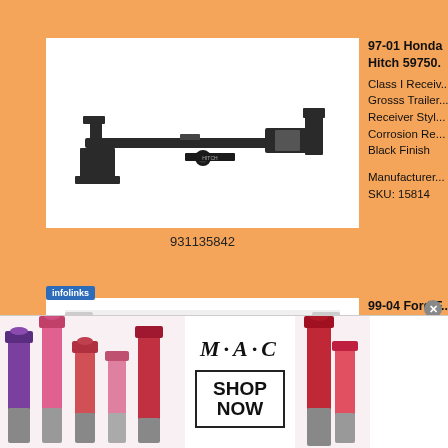[Figure (photo): Tow hitch receiver product photo on white background]
931135842
97-01 Honda... Hitch 59750.
Class I Receiv...
Grosss Trailer...
Receiver Styl...
Corrosion Re...
Black Finish

Manufacturer...
SKU: 15814
[Figure (photo): 99-04 Ford grille insert product photo on white background]
99-04 Ford F...
Grille Insert...
[Figure (photo): MAC Cosmetics advertisement banner with lipsticks and SHOP NOW button]